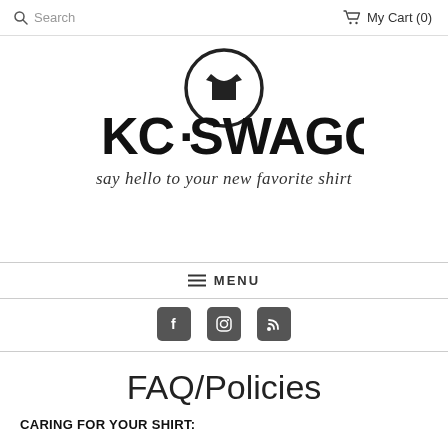Search   My Cart (0)
[Figure (logo): KC Swagger logo: circle with t-shirt icon above bold text KC·SWAGGER with script tagline 'say hello to your new favorite shirt']
≡ MENU
[Figure (infographic): Social media icons: Facebook, Instagram, RSS feed]
FAQ/Policies
CARING FOR YOUR SHIRT: